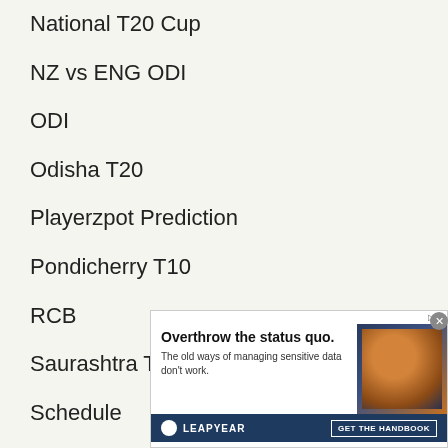National T20 Cup
NZ vs ENG ODI
ODI
Odisha T20
Playerzpot Prediction
Pondicherry T10
RCB
Saurashtra T20
Schedule
Shpageeza T20 League
Sofia T20
Sri Lanka Invitational T20
[Figure (screenshot): Video player overlay with message 'No compatible source was found for this media.' and an advertisement banner for Leapyear showing 'Overthrow the status quo. The old ways of managing sensitive data don't work.' with a GET THE HANDBOOK call to action.]